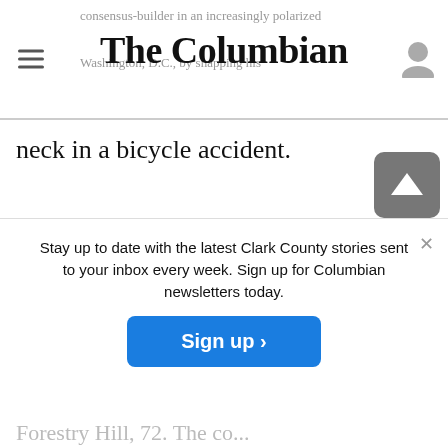The Columbian
neck in a bicycle accident.
Joey Jordison, 46. A founding member of Slipknot, who drummed for the influential metal band in its most popular period and helped write many of its best-known songs. July
Stay up to date with the latest Clark County stories sent to your inbox every week. Sign up for Columbian newsletters today.
Sign up ›